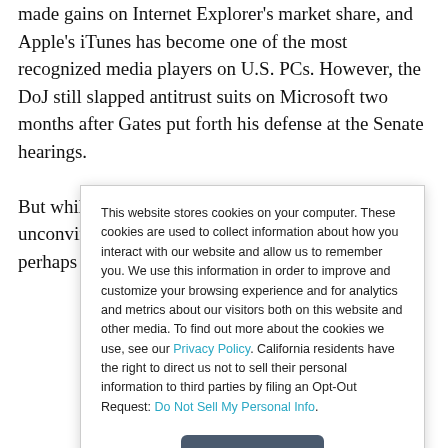made gains on Internet Explorer's market share, and Apple's iTunes has become one of the most recognized media players on U.S. PCs. However, the DoJ still slapped antitrust suits on Microsoft two months after Gates put forth his defense at the Senate hearings.
But while critics at the time called Gates' defense unconvincing and shaky, Schmidt and Google were perhaps better prepared
This website stores cookies on your computer. These cookies are used to collect information about how you interact with our website and allow us to remember you. We use this information in order to improve and customize your browsing experience and for analytics and metrics about our visitors both on this website and other media. To find out more about the cookies we use, see our Privacy Policy. California residents have the right to direct us not to sell their personal information to third parties by filing an Opt-Out Request: Do Not Sell My Personal Info.